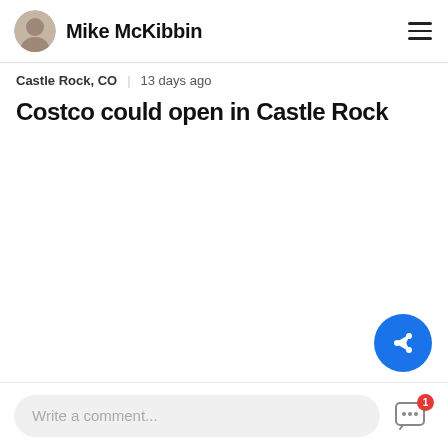Mike McKibbin
Castle Rock, CO | 13 days ago
Costco could open in Castle Rock
Write a comment...